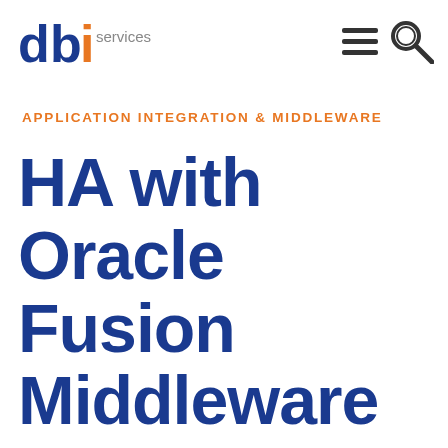[Figure (logo): dbi services logo with blue 'db' letters, orange 'i' letter, and gray 'services' text]
[Figure (other): Navigation icons: hamburger menu lines and magnifying glass search icon]
APPLICATION INTEGRATION & MIDDLEWARE
HA with Oracle Fusion Middleware Forms & Reports 11g R2